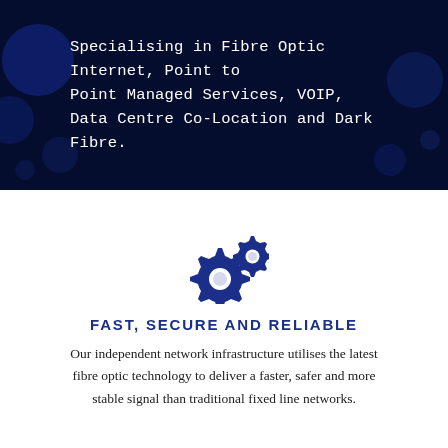Specialising in Fibre Optic Internet, Point to Point Managed Services, VOIP, Data Centre Co-Location and Dark Fibre.
[Figure (illustration): Two interlocking gear/cog icons in dark blue, representing settings or infrastructure]
FAST, SECURE AND RELIABLE
Our independent network infrastructure utilises the latest fibre optic technology to deliver a faster, safer and more stable signal than traditional fixed line networks.